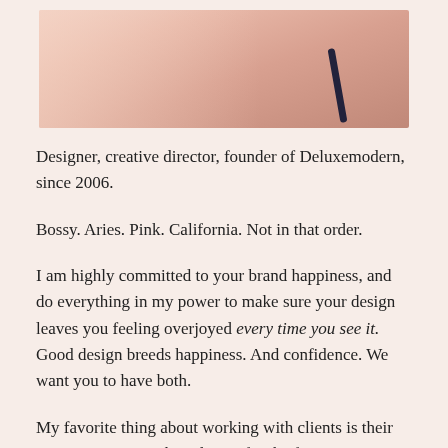[Figure (photo): Partial photo of a person showing shoulder/neck area with a dark bra strap visible, cropped at top of page]
Designer, creative director, founder of Deluxemodern, since 2006.
Bossy. Aries. Pink. California. Not in that order.
I am highly committed to your brand happiness, and do everything in my power to make sure your design leaves you feeling overjoyed every time you see it. Good design breeds happiness. And confidence. We want you to have both.
My favorite thing about working with clients is their reaction to seeing their design for the first time. It never gets old. Some cry (really) some type in all caps.